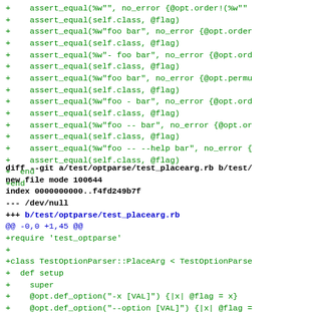+    assert_equal(%w"", no_error {@opt.order!(%w"")
+    assert_equal(self.class, @flag)
+    assert_equal(%w"foo bar", no_error {@opt.order
+    assert_equal(self.class, @flag)
+    assert_equal(%w"- foo bar", no_error {@opt.ord
+    assert_equal(self.class, @flag)
+    assert_equal(%w"foo bar", no_error {@opt.permu
+    assert_equal(self.class, @flag)
+    assert_equal(%w"foo - bar", no_error {@opt.ord
+    assert_equal(self.class, @flag)
+    assert_equal(%w"foo -- bar", no_error {@opt.or
+    assert_equal(self.class, @flag)
+    assert_equal(%w"foo -- --help bar", no_error {
+    assert_equal(self.class, @flag)
+  end
+end
diff --git a/test/optparse/test_placearg.rb b/test/
new file mode 100644
index 0000000000..f4fd249b7f
--- /dev/null
+++ b/test/optparse/test_placearg.rb
@@ -0,0 +1,45 @@
+require 'test_optparse'
+
+class TestOptionParser::PlaceArg < TestOptionParse
+  def setup
+    super
+    @opt.def_option("-x [VAL]") {|x| @flag = x}
+    @opt.def_option("--option [VAL]") {|x| @flag =